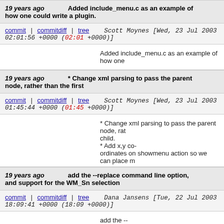19 years ago   Added include_menu.c as an example of how one could write a plugin.
commit | commitdiff | tree   Scott Moynes [Wed, 23 Jul 2003 02:01:56 +0000 (02:01 +0000)]
Added include_menu.c as an example of how one
19 years ago   * Change xml parsing to pass the parent node, rather than the first
commit | commitdiff | tree   Scott Moynes [Wed, 23 Jul 2003 01:45:44 +0000 (01:45 +0000)]
* Change xml parsing to pass the parent node, rat child.
* Add x,y co-ordinates on showmenu action so we can place m
19 years ago   add the --replace command line option, and support for the WM_Sn selection
commit | commitdiff | tree   Dana Jansens [Tue, 22 Jul 2003 18:09:41 +0000 (18:09 +0000)]
add the --replace command line option, and support for the